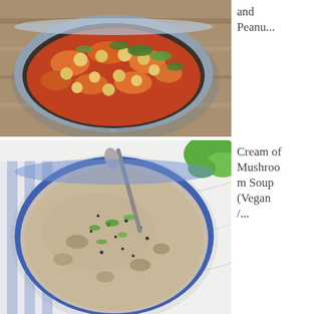[Figure (photo): Top-down view of a bowl containing chickpea and sweet potato stew with tomato sauce and fresh herbs, served in a grey ceramic bowl on a wooden surface]
and Peanu...
[Figure (photo): Overhead view of a blue-rimmed bowl filled with cream of mushroom soup, garnished with chopped parsley and black pepper, with a spoon inside, on a white marble surface with a green herb garnish in the corner]
Cream of Mushroom Soup (Vegan /...